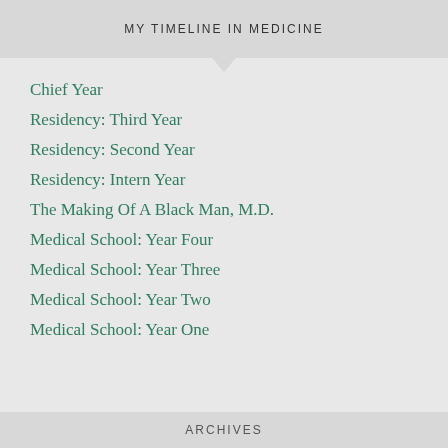MY TIMELINE IN MEDICINE
Chief Year
Residency: Third Year
Residency: Second Year
Residency: Intern Year
The Making Of A Black Man, M.D.
Medical School: Year Four
Medical School: Year Three
Medical School: Year Two
Medical School: Year One
ARCHIVES